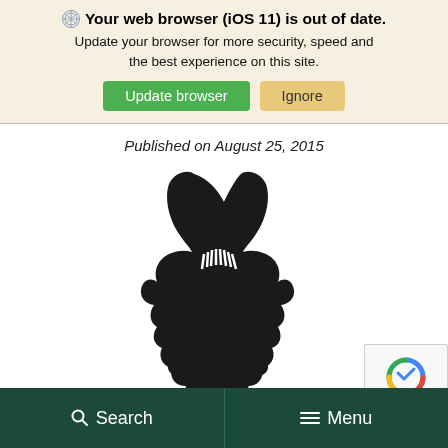Your web browser (iOS 11) is out of date. Update your browser for more security, speed and the best experience on this site. Update browser | Ignore
Published on August 25, 2015
[Figure (logo): Michigan State University Spartan helmet logo in black silhouette]
[Figure (logo): reCAPTCHA badge with recycling icon and Privacy - Terms text]
Search   Menu